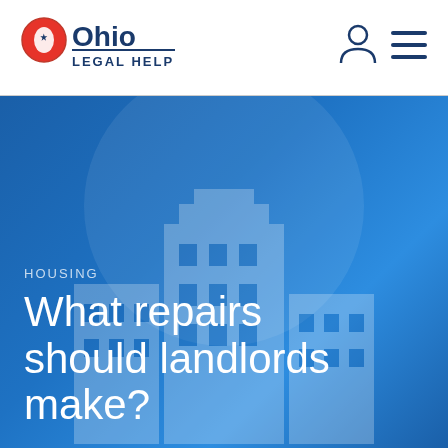[Figure (logo): Ohio Legal Help logo with red circle containing Ohio outline and star, blue text 'Ohio' and 'LEGAL HELP']
[Figure (illustration): User account icon (person silhouette) and hamburger menu icon in top right navigation]
HOUSING
What repairs should landlords make?
[Figure (illustration): Blue hero banner with semi-transparent building silhouette and circular shape in background]